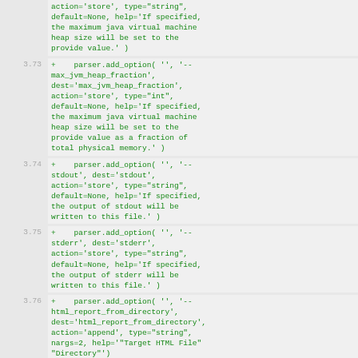action='store', type="string", default=None, help='If specified, the maximum java virtual machine heap size will be set to the provide value.' )
3.73  +    parser.add_option( '', '--max_jvm_heap_fraction', dest='max_jvm_heap_fraction', action='store', type="int", default=None, help='If specified, the maximum java virtual machine heap size will be set to the provide value as a fraction of total physical memory.' )
3.74  +    parser.add_option( '', '--stdout', dest='stdout', action='store', type="string", default=None, help='If specified, the output of stdout will be written to this file.' )
3.75  +    parser.add_option( '', '--stderr', dest='stderr', action='store', type="string", default=None, help='If specified, the output of stderr will be written to this file.' )
3.76  +    parser.add_option( '', '--html_report_from_directory', dest='html_report_from_directory', action='append', type="string", nargs=2, help='"Target HTML File" "Directory"')